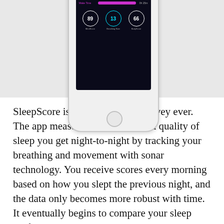[Figure (screenshot): A smartphone displaying the SleepScore app. The screen shows sleep tracking bars for Deep Sleep, REM Sleep, and Wake Time in green, blue, orange, and pink. Below the bars are three circular score indicators showing 89 (MindScore), 13 (Breathing Rate), and 66 (BodyScore).]
SleepScore is the largest sleep survey ever. The app measures the amount and quality of sleep you get night-to-night by tracking your breathing and movement with sonar technology. You receive scores every morning based on how you slept the previous night, and the data only becomes more robust with time. It eventually begins to compare your sleep profile with others that were similar